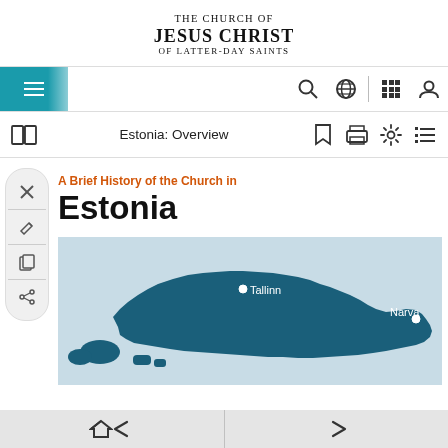THE CHURCH OF JESUS CHRIST OF LATTER-DAY SAINTS
[Figure (screenshot): Website navigation bar with hamburger menu, search icon, globe icon, grid icon, and user icon]
[Figure (screenshot): Toolbar with book icon, title 'Estonia: Overview', bookmark, print, settings, and list icons]
A Brief History of the Church in
Estonia
[Figure (map): Map of Estonia showing Tallinn and Narva labeled with white dots, dark teal country shape on light blue background]